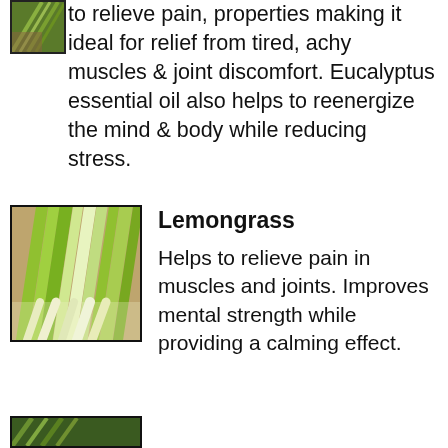[Figure (photo): Partial photo of eucalyptus or green plant in upper left corner]
to relieve pain, properties making it ideal for relief from tired, achy muscles & joint discomfort. Eucalyptus essential oil also helps to reenergize the mind & body while reducing stress.
[Figure (photo): Photo of lemongrass stalks bundled together, showing green and white/yellow coloring]
Lemongrass
Helps to relieve pain in muscles and joints. Improves mental strength while providing a calming effect.
[Figure (photo): Partial photo visible at bottom left of page]